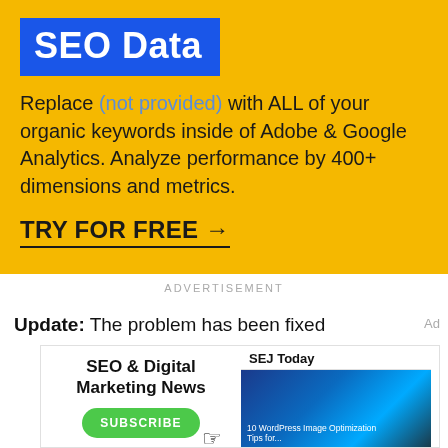[Figure (infographic): Yellow advertisement banner for SEO Data tool with blue 'SEO Data' label, body text about replacing (not provided) keywords, and 'TRY FOR FREE →' CTA link]
ADVERTISEMENT
Update: The problem has been fixed
[Figure (infographic): Bottom advertisement banner for SEO & Digital Marketing News newsletter with Subscribe button, and SEJ Today sidebar with runner image]